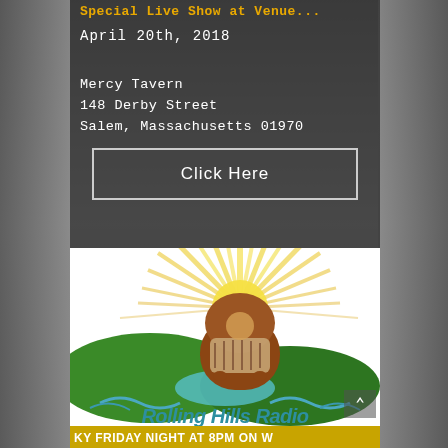Special Live Show at Venue
April 20th, 2018
Mercy Tavern
148 Derby Street
Salem, Massachusetts 01970
Click Here
[Figure (logo): Rolling Hills Radio logo with vintage radio, sun rays, rolling green hills, and text 'Rolling Hills Radio' with tagline 'EVERY FRIDAY NIGHT AT 8PM ON W...']